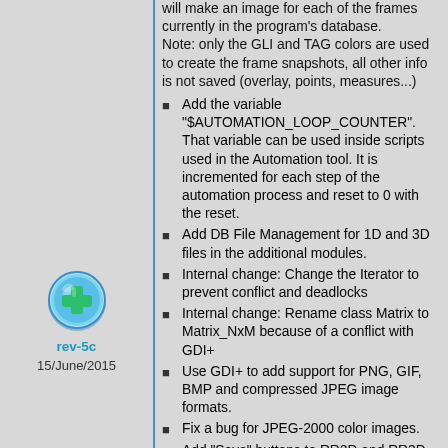will make an image for each of the frames currently in the program's database.
Note: only the GLI and TAG colors are used to create the frame snapshots, all other info is not saved (overlay, points, measures...)
Add the variable "$AUTOMATION_LOOP_COUNTER". That variable can be used inside scripts used in the Automation tool. It is incremented for each step of the automation process and reset to 0 with the reset.
Add DB File Management for 1D and 3D files in the additional modules.
Internal change: Change the Iterator to prevent conflict and deadlocks
Internal change: Rename class Matrix to Matrix_NxM because of a conflict with GDI+
Use GDI+ to add support for PNG, GIF, BMP and compressed JPEG image formats.
Fix a bug for JPEG-2000 color images.
Add "Save" buttons to RR2D and RR3D classes.
Fix a problem in the mixer (introduce in rev-b) where the "Vn" where not
[Figure (illustration): Circular blue/green icon with a plus sign (addition symbol), representing rev-5c update. Below it: label 'rev-5c' in teal/cyan, and date '15/June/2015'.]